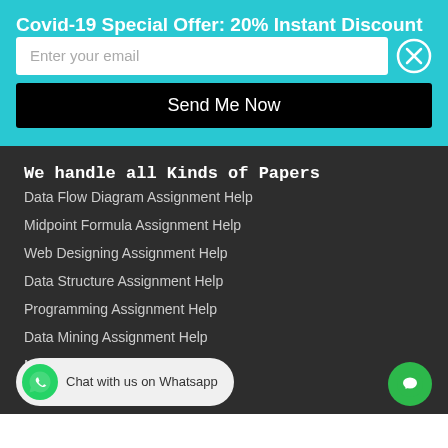Covid-19 Special Offer: 20% Instant Discount
Enter your email
Send Me Now
We handle all Kinds of Papers
Data Flow Diagram Assignment Help
Midpoint Formula Assignment Help
Web Designing Assignment Help
Data Structure Assignment Help
Programming Assignment Help
Data Mining Assignment Help
Mind Map Assignment Help
Chat with us on Whatsapp